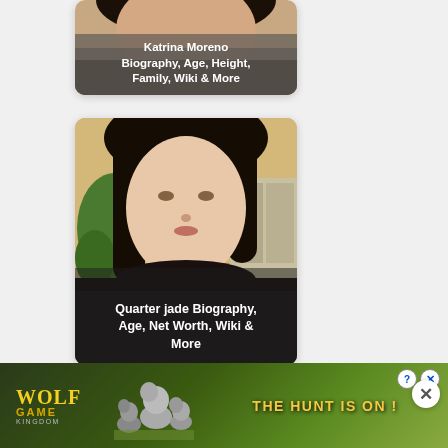[Figure (photo): Card with photo of Katrina Moreno with overlay text: Katrina Moreno Biography, Age, Height, Family, Wiki & More]
[Figure (photo): Card with photo of Quarter jade (young Asian woman selfie) with overlay text: Quarter jade Biography, Age, Net Worth, Wiki & More]
[Figure (photo): Partial card at bottom with photo (auburn hair person, cropped)]
[Figure (screenshot): Advertisement banner: Wolf Game - The Hunt Is On! with wolves and golden field background, close X button]